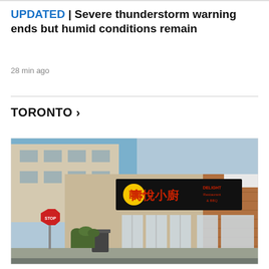UPDATED | Severe thunderstorm warning ends but humid conditions remain
28 min ago
TORONTO >
[Figure (photo): Exterior photo of a Chinese restaurant called 'Delight Restaurant & BBQ' (壽悅小廚) with a black sign featuring Chinese characters in red and a yellow round logo. The building has brick and stucco facade with large windows. A stop sign is visible on the left side. Street-level view in daylight.]